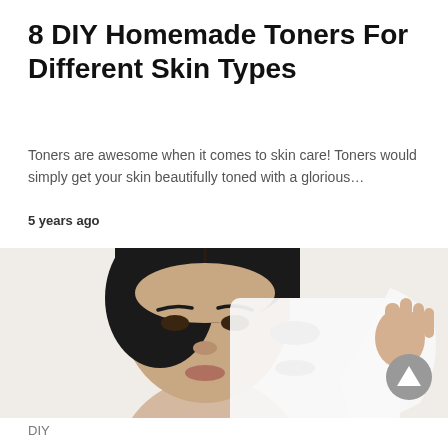8 DIY Homemade Toners For Different Skin Types
Toners are awesome when it comes to skin care! Toners would simply get your skin beautifully toned with a glorious…
5 years ago
[Figure (photo): Woman holding a white sheet face mask up to her face against a white background]
DIY